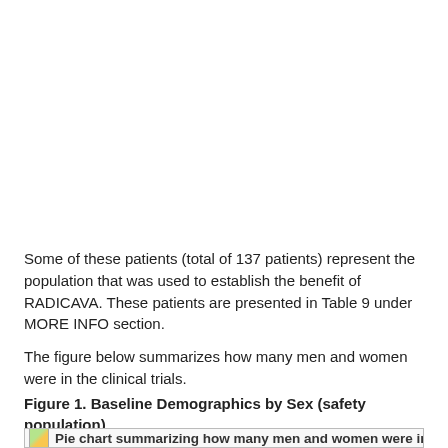Some of these patients (total of 137 patients) represent the population that was used to establish the benefit of RADICAVA. These patients are presented in Table 9 under MORE INFO section.
The figure below summarizes how many men and women were in the clinical trials.
Figure 1. Baseline Demographics by Sex (safety population)
[Figure (pie-chart): Pie chart summarizing how many men and women were in the clinical trials (partially visible, image broken/loading).]